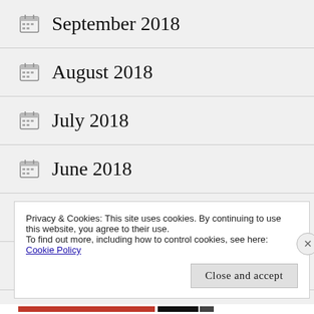September 2018
August 2018
July 2018
June 2018
May 2018
February 2018
Privacy & Cookies: This site uses cookies. By continuing to use this website, you agree to their use. To find out more, including how to control cookies, see here: Cookie Policy
Close and accept